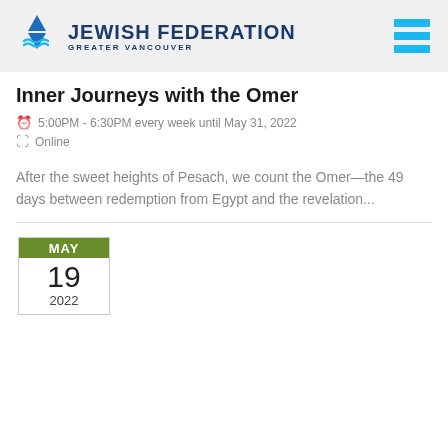JEWISH FEDERATION GREATER VANCOUVER
Inner Journeys with the Omer
5:00PM - 6:30PM every week until May 31, 2022
Online
After the sweet heights of Pesach, we count the Omer—the 49 days between redemption from Egypt and the revelation...
[Figure (other): Date badge showing MAY 19 2022]